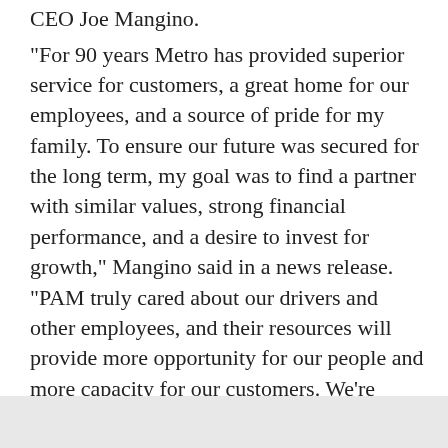CEO Joe Mangino.
"For 90 years Metro has provided superior service for customers, a great home for our employees, and a source of pride for my family. To ensure our future was secured for the long term, my goal was to find a partner with similar values, strong financial performance, and a desire to invest for growth," Mangino said in a news release. "PAM truly cared about our drivers and other employees, and their resources will provide more opportunity for our people and more capacity for our customers. We’re proud to continue to operate with our historical culture and identity while becoming the Northeast regional face for PAM, and we look forward to a smooth transition and a bright future."